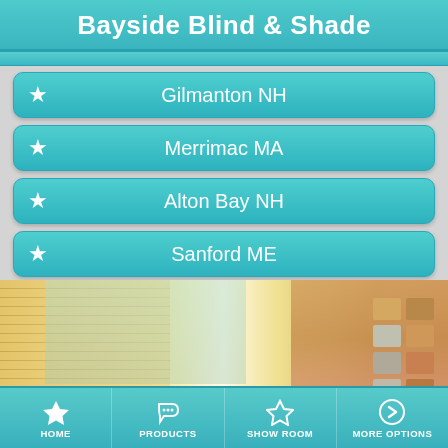Bayside Blind & Shade
Gilmanton NH
Merrimac MA
Alton Bay NH
Sanford ME
[Figure (photo): Interior photo showing window blinds/shades in a room with warm yellow tones, pleated cellular shades on windows, and fabric color swatches on the right side]
HOME   PRODUCTS   SHOW ROOM   MORE OPTIONS